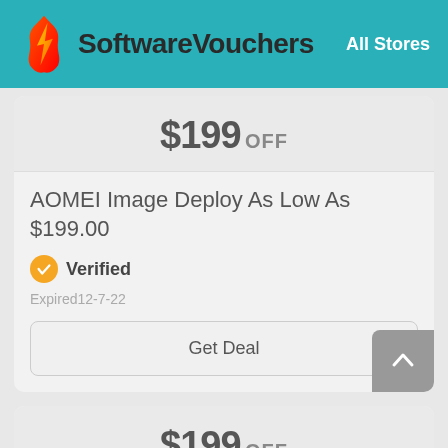SoftwareVouchers  All Stores
$199 OFF
AOMEI Image Deploy As Low As $199.00
Verified
Expired12-7-22
Get Deal
$199 OFF
For Windows Server & PC As Low As $199